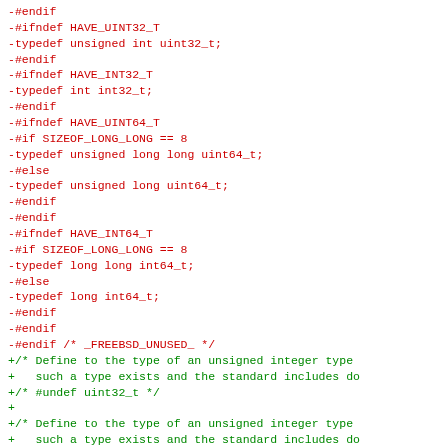Diff code block showing removed (red) and added (green) lines of C preprocessor type definitions including HAVE_UINT32_T, HAVE_INT32_T, HAVE_UINT64_T, HAVE_INT64_T, _FREEBSD_UNUSED_, and autoconf-style define comments for unsigned integer types.